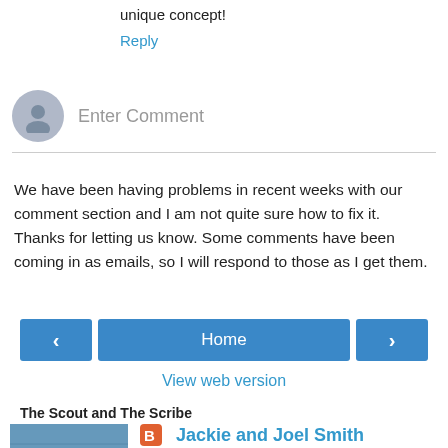unique concept!
Reply
[Figure (other): Comment input area with grey avatar circle and 'Enter Comment' placeholder text]
We have been having problems in recent weeks with our comment section and I am not quite sure how to fix it. Thanks for letting us know. Some comments have been coming in as emails, so I will respond to those as I get them.
[Figure (other): Navigation row with left arrow button, Home button, and right arrow button]
View web version
The Scout and The Scribe
Jackie and Joel Smith
[Figure (photo): Photo of person with flag outdoors]
Joel's 'The Scout', who scouts out travel deals and